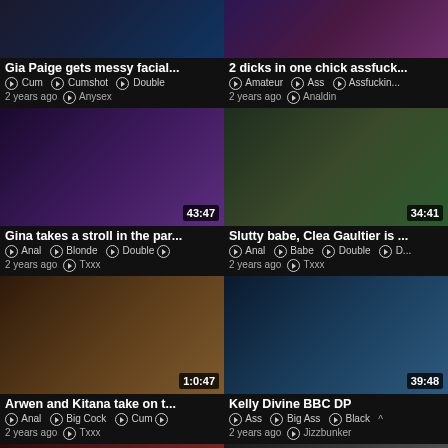[Figure (screenshot): Video thumbnail grid showing adult video website with 8 video cards]
Gia Paige gets messy facial...
2 dicks in one chick assfuck...
Gina takes a stroll in the par...
Slutty babe, Clea Gaultier is ...
Arwen and Kitana take on t...
Kelly Divine BBC DP